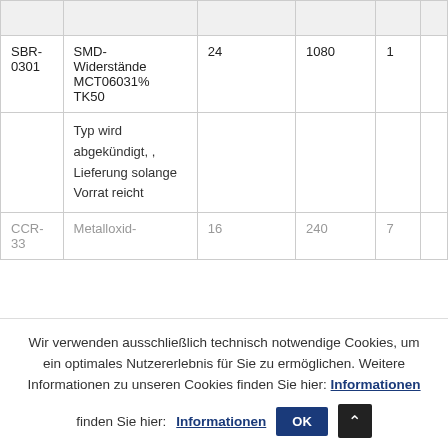|  |  |  |  |  |  |
| --- | --- | --- | --- | --- | --- |
|  |  |  |  |  |  |
| SBR-0301 | SMD-Widerstände MCT06031%TK50 | 24 | 1080 | 1 |
|  | Typ wird abgekündigt, , Lieferung solange Vorrat reicht |  |  |  |
| CCR-33 | Metalloxid- | 16 | 240 | 7 |
Wir verwenden ausschließlich technisch notwendige Cookies, um ein optimales Nutzererlebnis für Sie zu ermöglichen. Weitere Informationen zu unseren Cookies finden Sie hier: Informationen